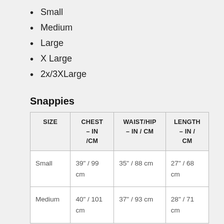Small
Medium
Large
X Large
2x/3XLarge
Snappies
| SIZE | CHEST – IN /CM | WAIST/HIP – IN / CM | LENGTH – IN / CM |
| --- | --- | --- | --- |
| Small | 39" / 99 cm | 35" / 88 cm | 27" / 68 cm |
| Medium | 40" / 101 cm | 37" / 93 cm | 28" / 71 cm |